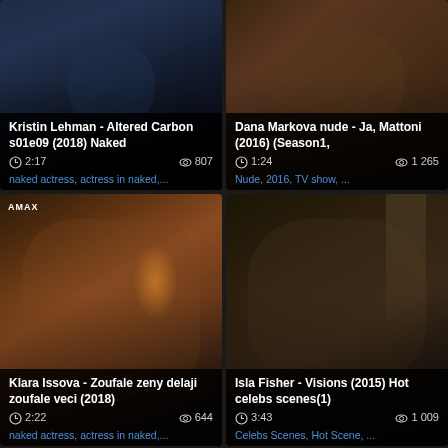[Figure (screenshot): Video thumbnail - Kristin Lehman Altered Carbon scene, dark blue tones]
Kristin Lehman - Altered Carbon s01e09 (2018) Naked
2:17  807
naked actress, actress in naked,...
[Figure (screenshot): Video thumbnail - Dana Markova nude scene, warm brown tones]
Dana Markova nude - Ja, Mattoni (2016) (Season1,
1:24  1 265
Nude, 2016, TV show, ...
[Figure (screenshot): Video thumbnail - Klara Issova scene, warm orange/red tones, AMAX watermark]
Klara Issova - Zoufale zeny delaji zoufale veci (2018)
2:22  644
naked actress, actress in naked,...
[Figure (screenshot): Video thumbnail - Isla Fisher Visions scene, dark warm tones]
Isla Fisher - Visions (2015) Hot celebs scenes(1)
3:43  1 009
Celebs Scenes, Hot Scene, ...
[Figure (screenshot): Video thumbnail - partial, bottom of page, outdoor scene]
[Figure (screenshot): Video thumbnail - partial, bottom of page, dark warm indoor scene]